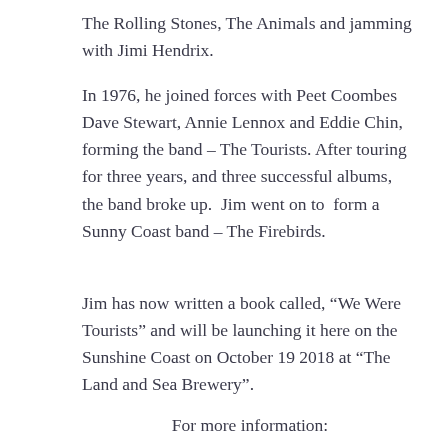The Rolling Stones, The Animals and jamming with Jimi Hendrix.
In 1976, he joined forces with Peet Coombes Dave Stewart, Annie Lennox and Eddie Chin, forming the band – The Tourists. After touring for three years, and three successful albums, the band broke up. Jim went on to form a Sunny Coast band – The Firebirds.
Jim has now written a book called, “We Were Tourists” and will be launching it here on the Sunshine Coast on October 19 2018 at “The Land and Sea Brewery”.
For more information: